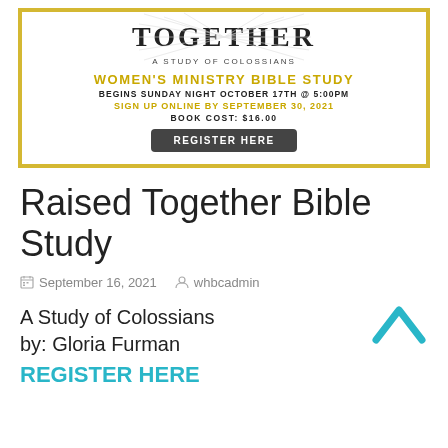[Figure (illustration): Women's Ministry Bible Study promotional banner with 'TOGETHER - A Study of Colossians' title, sunburst graphic, gold border, event details, and Register Here button]
Raised Together Bible Study
September 16, 2021   whbcadmin
A Study of Colossians
by: Gloria Furman
REGISTER HERE